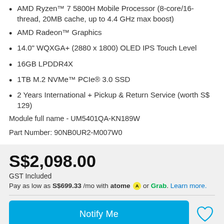AMD Ryzen™ 7 5800H Mobile Processor (8-core/16-thread, 20MB cache, up to 4.4 GHz max boost)
AMD Radeon™ Graphics
14.0" WQXGA+ (2880 x 1800) OLED IPS Touch Level
16GB LPDDR4X
1TB M.2 NVMe™ PCIe® 3.0 SSD
2 Years International + Pickup & Return Service (worth S$ 129)
Module full name - UM5401QA-KN189W
Part Number: 90NB0UR2-M007W0
S$2,098.00
GST Included
Pay as low as S$699.33 /mo with atome or Grab. Learn more.
Notify Me
This item is out of stock. We will notify you via email when the item